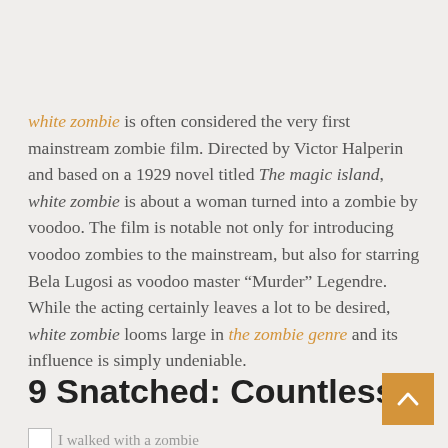white zombie is often considered the very first mainstream zombie film. Directed by Victor Halperin and based on a 1929 novel titled The magic island, white zombie is about a woman turned into a zombie by voodoo. The film is notable not only for introducing voodoo zombies to the mainstream, but also for starring Bela Lugosi as voodoo master “Murder” Legendre. While the acting certainly leaves a lot to be desired, white zombie looms large in the zombie genre and its influence is simply undeniable.
9 Snatched: Countless
[Figure (other): Scroll-to-top button with upward chevron arrow, orange/golden background]
I walked with a zombie